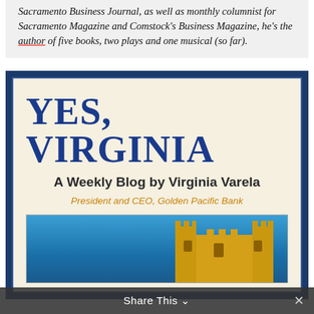Sacramento Business Journal, as well as monthly columnist for Sacramento Magazine and Comstock's Business Magazine, he's the author of five books, two plays and one musical (so far).
YES, VIRGINIA
A Weekly Blog by Virginia Varela
President and CEO, Golden Pacific Bank
[Figure (photo): Partial image showing a golden/yellow castle or building structure against a blue sky background.]
Share This ∨  ✕